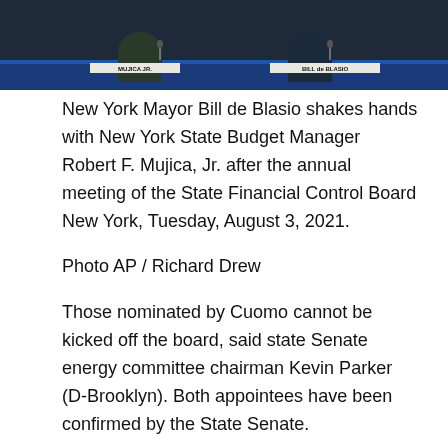[Figure (photo): New York Mayor Bill de Blasio and Robert F. Mujica Jr. at a table with a blue tablecloth. Name placards visible: 'MUJICA JR.' on the left and 'BILL de BLASIO' on the right.]
New York Mayor Bill de Blasio shakes hands with New York State Budget Manager Robert F. Mujica, Jr. after the annual meeting of the State Financial Control Board New York, Tuesday, August 3, 2021.
Photo AP / Richard Drew
Those nominated by Cuomo cannot be kicked off the board, said state Senate energy committee chairman Kevin Parker (D-Brooklyn). Both appointees have been confirmed by the State Senate.
“They were appointed for their terms until they were complete. They have the right to refuse, “Parker said.
“[Hochul}askedwhichshecouldn’tdospecterallysowe’rehere[Hochul}ademandéquelquechosequ’ellenepouvaitpasfairerespecteral